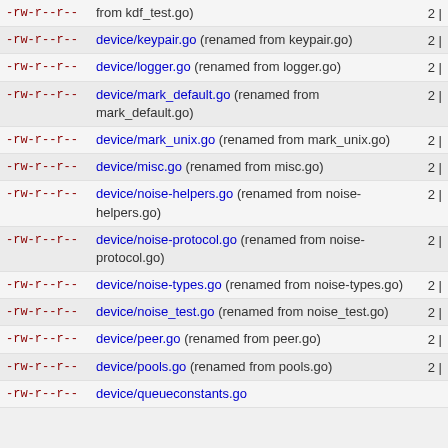-rw-r--r-- device/keypair.go (renamed from keypair.go) 2 |
-rw-r--r-- device/logger.go (renamed from logger.go) 2 |
-rw-r--r-- device/mark_default.go (renamed from mark_default.go) 2 |
-rw-r--r-- device/mark_unix.go (renamed from mark_unix.go) 2 |
-rw-r--r-- device/misc.go (renamed from misc.go) 2 |
-rw-r--r-- device/noise-helpers.go (renamed from noise-helpers.go) 2 |
-rw-r--r-- device/noise-protocol.go (renamed from noise-protocol.go) 2 |
-rw-r--r-- device/noise-types.go (renamed from noise-types.go) 2 |
-rw-r--r-- device/noise_test.go (renamed from noise_test.go) 2 |
-rw-r--r-- device/peer.go (renamed from peer.go) 2 |
-rw-r--r-- device/pools.go (renamed from pools.go) 2 |
-rw-r--r-- device/queueconstants.go